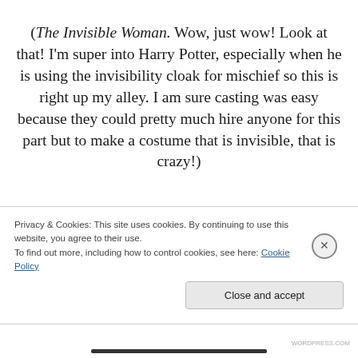(​The Invisible Woman. Wow, just wow! Look at that! I'm super into Harry Potter, especially when he is using the invisibility cloak for mischief so this is right up my alley. I am sure casting was easy because they could pretty much hire anyone for this part but to make a costume that is invisible, that is crazy!)
Privacy & Cookies: This site uses cookies. By continuing to use this website, you agree to their use.
To find out more, including how to control cookies, see here: Cookie Policy